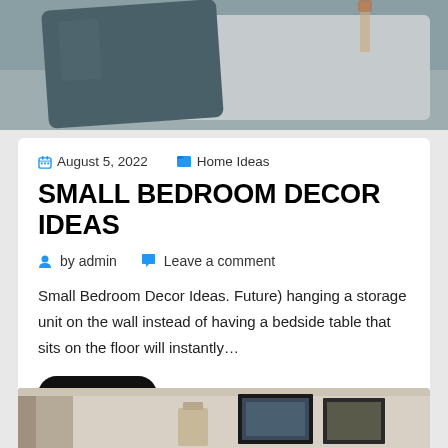[Figure (photo): Top cropped photo of a bed with decorative pillows — a dark teal/grey pillow and a light grey pillow against a headboard]
August 5, 2022   Home Ideas
SMALL BEDROOM DECOR IDEAS
by admin   Leave a comment
Small Bedroom Decor Ideas. Future) hanging a storage unit on the wall instead of having a bedside table that sits on the floor will instantly…
Read More
[Figure (photo): Bottom partial photo showing a shelf or surface with framed artwork and home decor items]